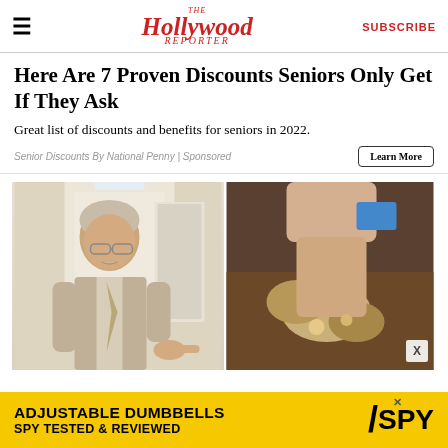The Hollywood Reporter | SUBSCRIBE
Here Are 7 Proven Discounts Seniors Only Get If They Ask
Great list of discounts and benefits for seniors in 2022.
Senior Discounts By National Penny | Sponsored
[Figure (photo): Left: Older man in suit and glasses standing in hallway pointing finger. Right: Hands working with clay or soil objects. Bottom right: small X close button.]
[Figure (other): Banner advertisement: ADJUSTABLE DUMBBELLS SPY TESTED & REVIEWED with SPY logo on yellow background.]